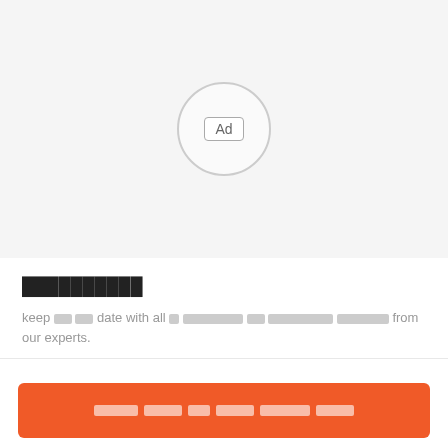[Figure (other): Advertisement placeholder area with a circular 'Ad' badge in the center on a light gray background]
██████████
keep ██ ██ date with all █ ████████ ██ ████████ ███████ from our experts.
██████ ████ ██ ████ ██████ ████